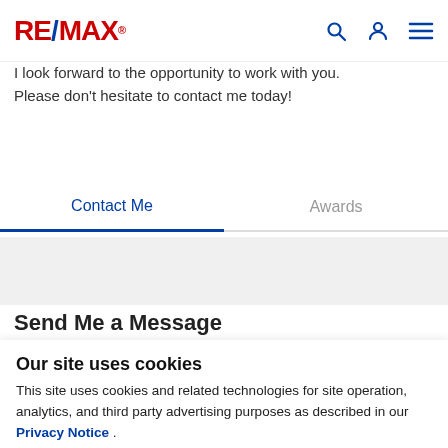RE/MAX
I look forward to the opportunity to work with you. Please don't hesitate to contact me today!
Contact Me | Awards
Send Me a Message
Our site uses cookies
This site uses cookies and related technologies for site operation, analytics, and third party advertising purposes as described in our Privacy Notice .
ACCEPT